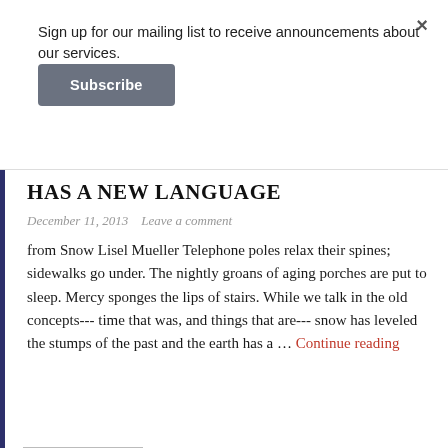Sign up for our mailing list to receive announcements about our services.
Subscribe
HAS A NEW LANGUAGE
December 11, 2013   Leave a comment
from Snow Lisel Mueller Telephone poles relax their spines; sidewalks go under. The nightly groans of aging porches are put to sleep. Mercy sponges the lips of stairs. While we talk in the old concepts--- time that was, and things that are--- snow has leveled the stumps of the past and the earth has a … Continue reading